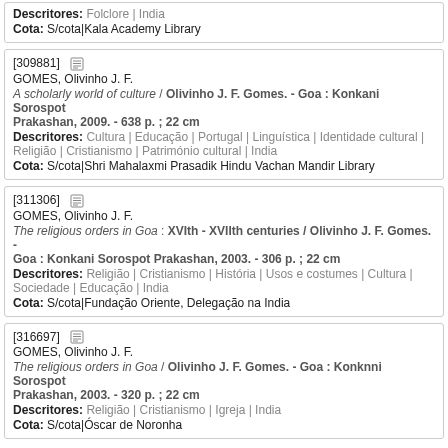Descritores: Folclore | India
Cota: S/cota|Kala Academy Library
[309881]
GOMES, Olivinho J. F.
A scholarly world of culture / Olivinho J. F. Gomes. - Goa : Konkani Sorospot Prakashan, 2009. - 638 p. ; 22 cm
Descritores: Cultura | Educação | Portugal | Linguística | Identidade cultural | Religião | Cristianismo | Património cultural | India
Cota: S/cota|Shri Mahalaxmi Prasadik Hindu Vachan Mandir Library
[311306]
GOMES, Olivinho J. F.
The religious orders in Goa : XVIth - XVIIth centuries / Olivinho J. F. Gomes. - Goa : Konkani Sorospot Prakashan, 2003. - 306 p. ; 22 cm
Descritores: Religião | Cristianismo | História | Usos e costumes | Cultura | Sociedade | Educação | India
Cota: S/cota|Fundação Oriente, Delegação na India
[316697]
GOMES, Olivinho J. F.
The religious orders in Goa / Olivinho J. F. Gomes. - Goa : Konknni Sorospot Prakashan, 2003. - 320 p. ; 22 cm
Descritores: Religião | Cristianismo | Igreja | India
Cota: S/cota|Óscar de Noronha